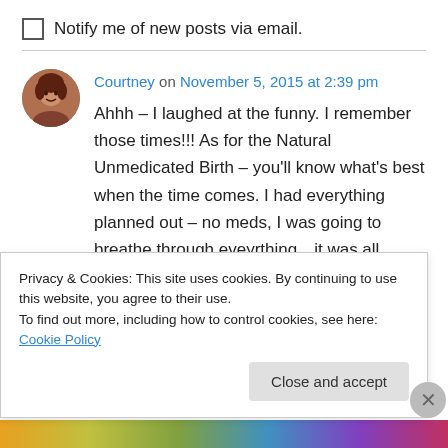Notify me of new posts via email.
Courtney on November 5, 2015 at 2:39 pm
Ahhh – I laughed at the funny. I remember those times!!! As for the Natural Unmedicated Birth – you'll know what's best when the time comes. I had everything planned out – no meds, I was going to breathe through eveyrthing…it was all perfectly planned until he came 5 weeks early an I had to have a c-section… LOL. Babies. He
Privacy & Cookies: This site uses cookies. By continuing to use this website, you agree to their use.
To find out more, including how to control cookies, see here: Cookie Policy
Close and accept